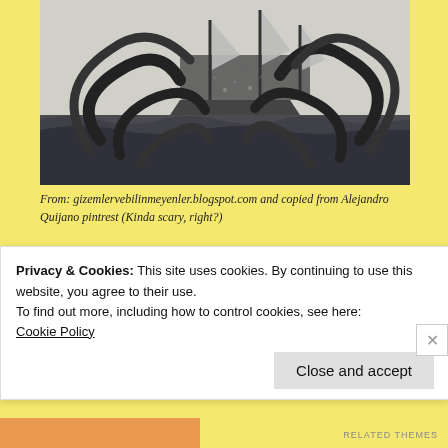[Figure (illustration): Black and white engraving of the Kraken (giant octopus/squid) attacking a sailing ship, tentacles wrapped around the vessel, set on stormy seas.]
From: gizemlervebilinmeyenler.blogspot.com and copied from Alejandro Quijano pintrest (Kinda scary, right?)
The Kraken
By Robert L. Jones II (check it out
Privacy & Cookies: This site uses cookies. By continuing to use this website, you agree to their use.
To find out more, including how to control cookies, see here:
Cookie Policy
Close and accept